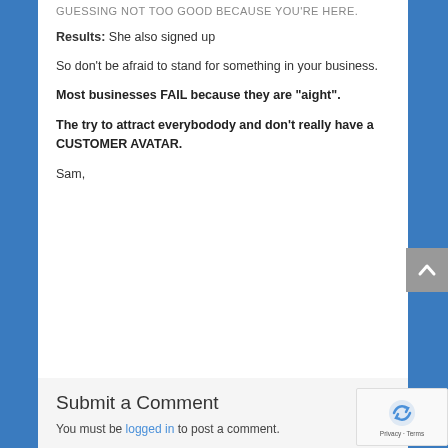GUESSING NOT TOO GOOD BECAUSE YOU'RE HERE.
Results: She also signed up
So don't be afraid to stand for something in your business.
Most businesses FAIL because they are “aight”.
The try to attract everybodody and don’t really have a CUSTOMER AVATAR.
Sam,
Submit a Comment
You must be logged in to post a comment.